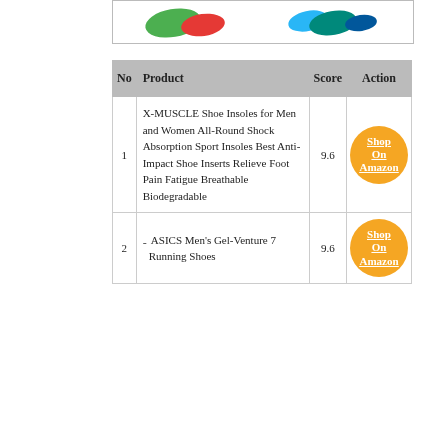[Figure (photo): Partial view of shoe insoles in various colors (green, red/orange on left; blue, teal on right)]
| No | Product | Score | Action |
| --- | --- | --- | --- |
| 1 | X-MUSCLE Shoe Insoles for Men and Women All-Round Shock Absorption Sport Insoles Best Anti-Impact Shoe Inserts Relieve Foot Pain Fatigue Breathable Biodegradable | 9.6 | Shop On Amazon |
| 2 | - ASICS Men's Gel-Venture 7 Running Shoes | 9.6 | Shop On Amazon |